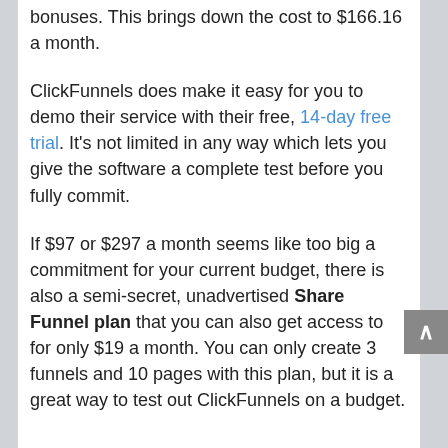bonuses. This brings down the cost to $166.16 a month.
ClickFunnels does make it easy for you to demo their service with their free, 14-day free trial. It's not limited in any way which lets you give the software a complete test before you fully commit.
If $97 or $297 a month seems like too big a commitment for your current budget, there is also a semi-secret, unadvertised Share Funnel plan that you can also get access to for only $19 a month. You can only create 3 funnels and 10 pages with this plan, but it is a great way to test out ClickFunnels on a budget.
Everything else you